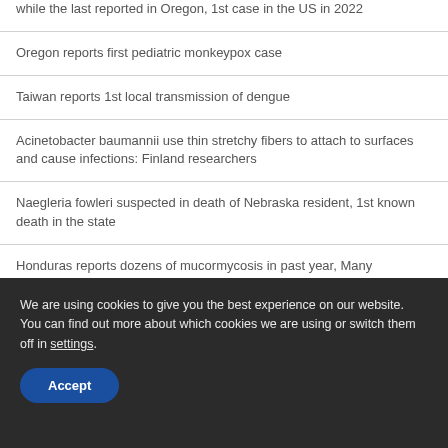while the last reported in Oregon, 1st case in the US in 2022
Oregon reports first pediatric monkeypox case
Taiwan reports 1st local transmission of dengue
Acinetobacter baumannii use thin stretchy fibers to attach to surfaces and cause infections: Finland researchers
Naegleria fowleri suspected in death of Nebraska resident, 1st known death in the state
Honduras reports dozens of mucormycosis in past year, Many associated to COVID-19
E. coli O157 outbreak in Michigan and Ohio, unknown food...
We are using cookies to give you the best experience on our website. You can find out more about which cookies we are using or switch them off in settings.
Accept